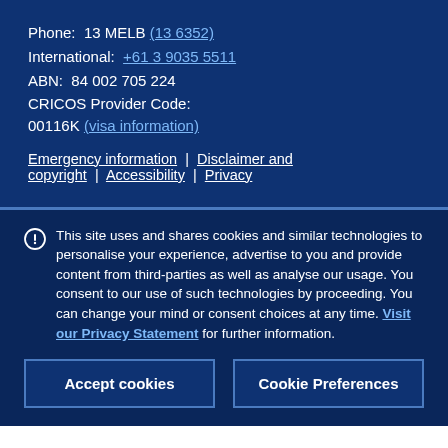Phone: 13 MELB (13 6352)
International: +61 3 9035 5511
ABN: 84 002 705 224
CRICOS Provider Code: 00116K (visa information)
Emergency information | Disclaimer and copyright | Accessibility | Privacy
This site uses and shares cookies and similar technologies to personalise your experience, advertise to you and provide content from third-parties as well as analyse our usage. You consent to our use of such technologies by proceeding. You can change your mind or consent choices at any time. Visit our Privacy Statement for further information.
Accept cookies
Cookie Preferences